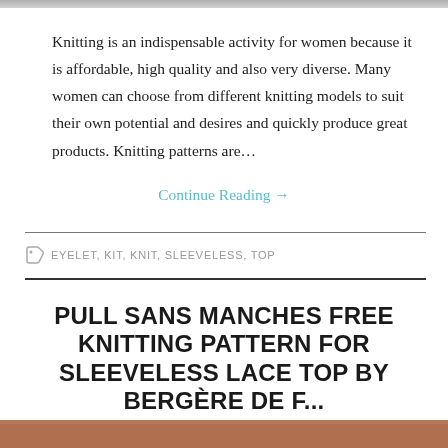Knitting is an indispensable activity for women because it is affordable, high quality and also very diverse. Many women can choose from different knitting models to suit their own potential and desires and quickly produce great products. Knitting patterns are…
Continue Reading →
EYELET, KIT, KNIT, SLEEVELESS, TOP
PULL SANS MANCHES FREE KNITTING PATTERN FOR SLEEVELESS LACE TOP BY BERGÈRE DE F...
[Figure (photo): Bottom strip showing partial photo of a person, warm tones]